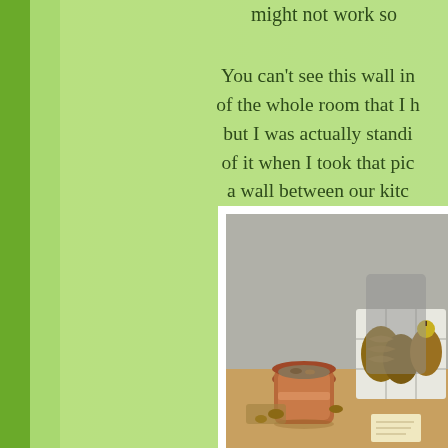might not work so
You can't see this wall in the photo of the whole room that I have, but I was actually standing in front of it when I took that picture. It's a wall between our kitchen and bedroom door.
[Figure (photo): A wooden table with a terracotta pot filled with nuts/seeds, and a white wooden crate containing pine cones and an apple, photographed against a light grey wall.]